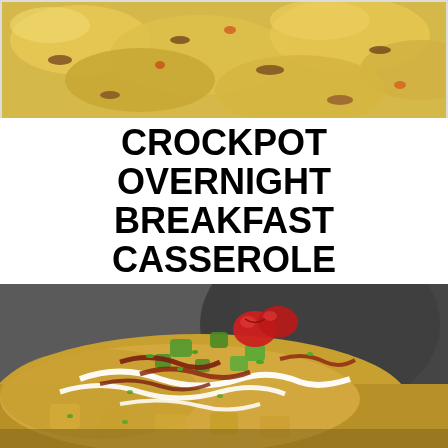[Figure (photo): Close-up photo of crockpot breakfast casserole showing cheesy egg mixture with bacon and vegetables, viewed from above]
CROCKPOT OVERNIGHT BREAKFAST CASSEROLE
[Figure (photo): Close-up photo of a serving of crockpot overnight breakfast casserole topped with sour cream drizzle, cherry tomatoes, avocado chunks, crispy bacon, and green onions, with a slow cooker visible in the background]